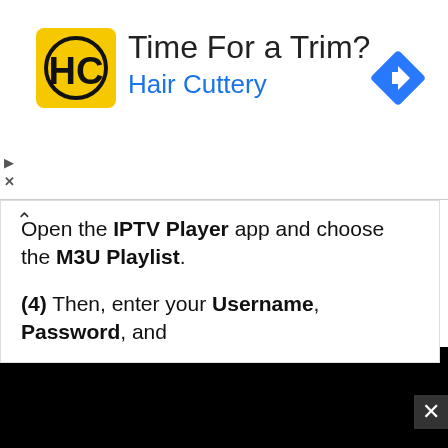[Figure (screenshot): Hair Cuttery advertisement banner with yellow logo, 'Time For a Trim?' headline, blue 'Hair Cuttery' subtitle, and a blue diamond direction arrow icon]
Open the IPTV Player app and choose the M3U Playlist.
(4) Then, enter your Username, Password, and
[Figure (screenshot): Video player area showing black screen with 'Source not found' error message in a gray box with red warning icon]